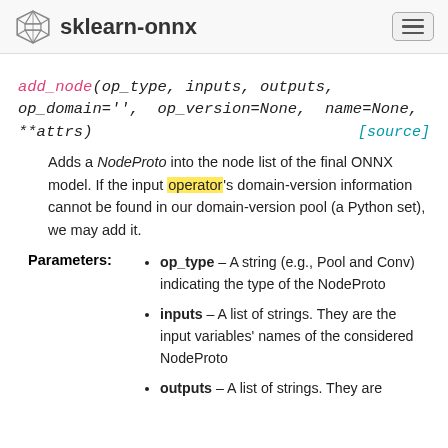sklearn-onnx
add_node(op_type, inputs, outputs, op_domain='', op_version=None, name=None, **attrs) [source]
Adds a NodeProto into the node list of the final ONNX model. If the input operator's domain-version information cannot be found in our domain-version pool (a Python set), we may add it.
Parameters: op_type – A string (e.g., Pool and Conv) indicating the type of the NodeProto
op_type – A string (e.g., Pool and Conv) indicating the type of the NodeProto
inputs – A list of strings. They are the input variables' names of the considered NodeProto
outputs – A list of strings. They are